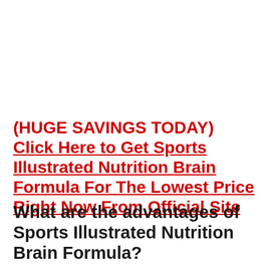(HUGE SAVINGS TODAY) Click Here to Get Sports Illustrated Nutrition Brain Formula For The Lowest Price Right Now From Official Site
What are the advantages of Sports Illustrated Nutrition Brain Formula?